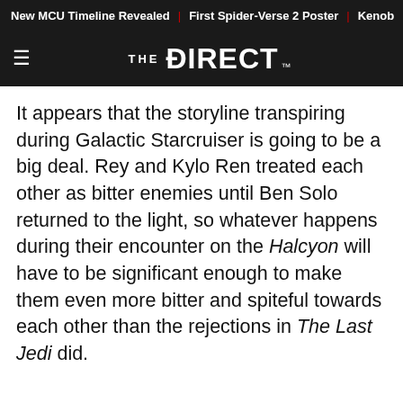New MCU Timeline Revealed | First Spider-Verse 2 Poster | Kenob
THE DIRECT
It appears that the storyline transpiring during Galactic Starcruiser is going to be a big deal. Rey and Kylo Ren treated each other as bitter enemies until Ben Solo returned to the light, so whatever happens during their encounter on the Halcyon will have to be significant enough to make them even more bitter and spiteful towards each other than the rejections in The Last Jedi did.